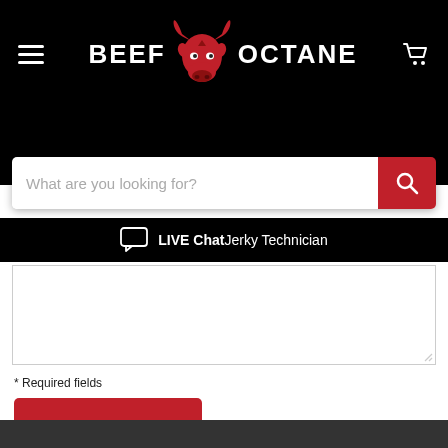[Figure (logo): Beef Octane logo with red bull head icon and white bold text on black background]
[Figure (screenshot): Search bar with placeholder text 'What are you looking for?' and red search button]
LIVE Chat Jerky Technician
* Required fields
Post comment